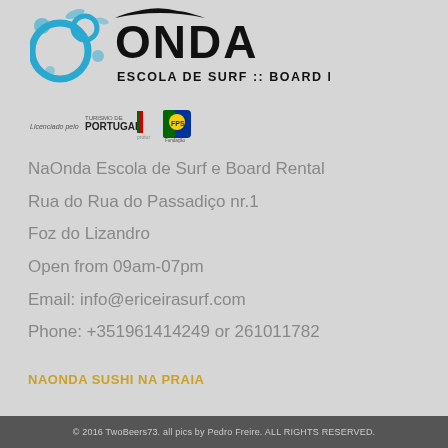[Figure (logo): NaOnda Escola de Surf Board Rental logo with wave/bubble graphic in blue and black text]
[Figure (logo): Licenciado pelo Turismo de Portugal badge and FPS surf federation badge]
NaOnda Escola de Surf e Board Rental
Rua do Rua do Passadiço nr.1
Foz do Lizandro
Open from 09am-07pm
Email: info@ericeirasurf.com
Phone: +351961414249 or 261011782
NAONDA SUSHI NA PRAIA
© 2016 TwoBeers73. all pics by Pedro Freire. ALL RIGHTS RESERVED.